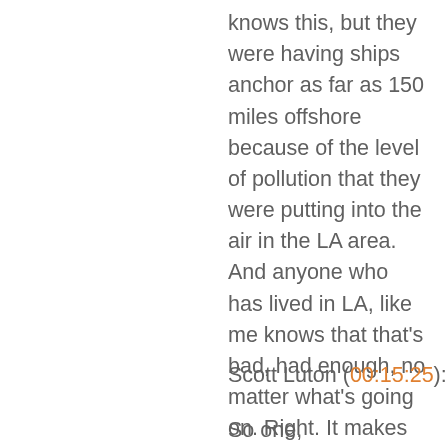knows this, but they were having ships anchor as far as 150 miles offshore because of the level of pollution that they were putting into the air in the LA area. And anyone who has lived in LA, like me knows that that's bad, had enough, no matter what's going on. Right. It makes for a beautiful sunset blue stream does make beautiful sunsets, but, uh, it is hard to breathe though, in LA, I know there are many people who don't trust air that they can't see. So,
Scott Luton (00:15:25):
So one,